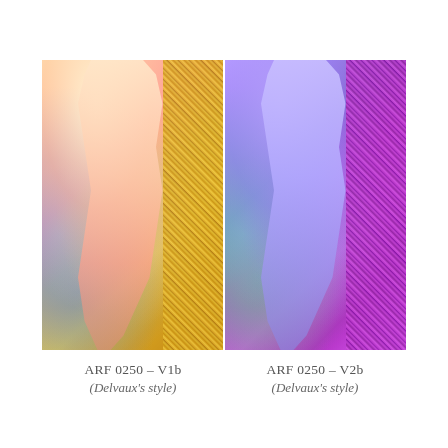[Figure (photo): Two side-by-side artistic photos of a nude figure, both in Delvaux's style. Left image (V1b) has warm orange/yellow/gold color tones with blue accents. Right image (V2b) has cool purple/blue/violet tones with green accents. Both show a rear-view female figure against textured backgrounds.]
ARF 0250 – V1b
(Delvaux's style)
ARF 0250 – V2b
(Delvaux's style)